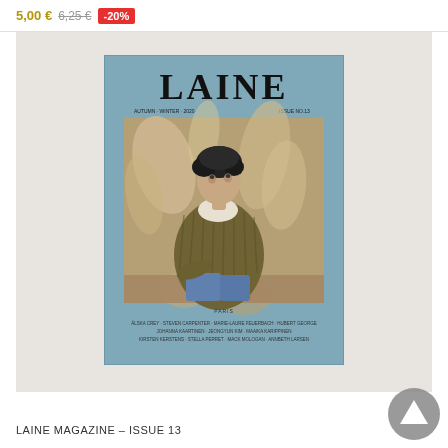5,00 € 6,25 € -20%
[Figure (photo): LAINE Magazine Issue 13 cover showing a person wearing a chunky knit olive/brown cardigan, seated among dried grasses/foliage, on a teal/dusty blue background. Large bold 'LAINE' title at top, contributors listed at bottom.]
LAINE MAGAZINE - ISSUE 13